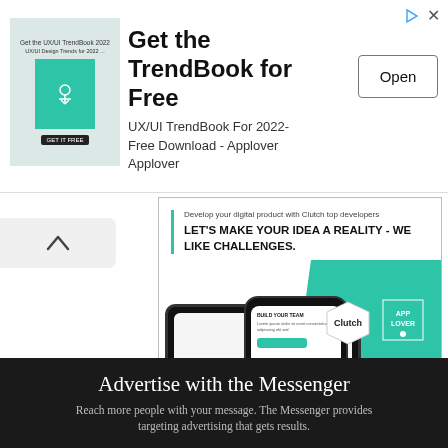[Figure (screenshot): Top advertisement banner for TrendBook: shows a book cover image on the left, text 'Get the TrendBook for Free / UX/UI TrendBook For 2022- Free Download - Applover Applover' in the center, and an 'Open' button on the right. Navigation icons (forward arrow and close X) in top right.]
[Figure (screenshot): Middle advertisement banner for Applover agency with teal/green branding. Text reads 'Develop your digital product with Clutch top developers / LET'S MAKE YOUR IDEA A REALITY - WE LIKE CHALLENGES.' with device mockups, Clutch and App Lover badges, and a 'Check out' call-to-action button.]
Advertise with the Messenger
Reach more people with your message. The Messenger provides targeting advertising that gets results.